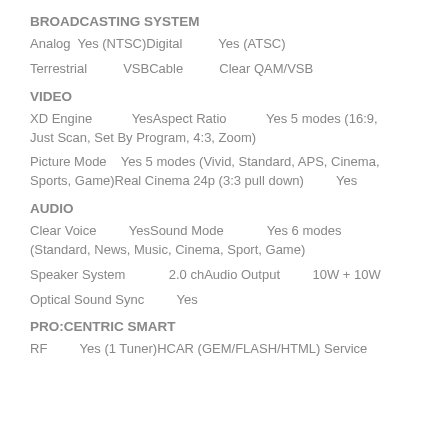BROADCASTING SYSTEM
Analog  Yes (NTSC)Digital          Yes (ATSC)
Terrestrial          VSBCable          Clear QAM/VSB
VIDEO
XD Engine          YesAspect Ratio          Yes 5 modes (16:9, Just Scan, Set By Program, 4:3, Zoom)
Picture Mode    Yes 5 modes (Vivid, Standard, APS, Cinema, Sports, Game)Real Cinema 24p (3:3 pull down)          Yes
AUDIO
Clear Voice          YesSound Mode          Yes 6 modes (Standard, News, Music, Cinema, Sport, Game)
Speaker System          2.0 chAudio Output          10W + 10W
Optical Sound Sync          Yes
PRO:CENTRIC SMART
RF          Yes (1 Tuner)HCAR (GEM/FLASH/HTML) Service